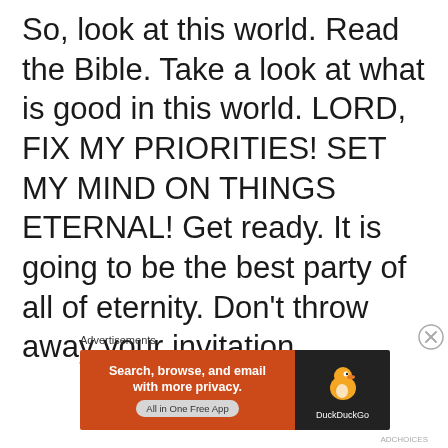So, look at this world.  Read the Bible.  Take a look at what is good in this world.  LORD, FIX MY PRIORITIES!  SET MY MIND ON THINGS ETERNAL!  Get ready.  It is going to be the best party of all of eternity.  Don't throw away your invitation.
Advertisements
[Figure (other): DuckDuckGo advertisement banner with orange left panel saying 'Search, browse, and email with more privacy. All in One Free App' and dark right panel with DuckDuckGo duck logo.]